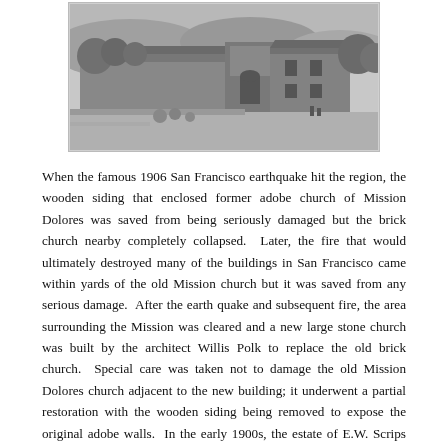[Figure (photo): Black and white historical photograph of Mission Dolores buildings with trees and grounds visible]
When the famous 1906 San Francisco earthquake hit the region, the wooden siding that enclosed former adobe church of Mission Dolores was saved from being seriously damaged but the brick church nearby completely collapsed.  Later, the fire that would ultimately destroyed many of the buildings in San Francisco came within yards of the old Mission church but it was saved from any serious damage.  After the earth quake and subsequent fire, the area surrounding the Mission was cleared and a new large stone church was built by the architect Willis Polk to replace the old brick church.  Special care was taken not to damage the old Mission Dolores church adjacent to the new building; it underwent a partial restoration with the wooden siding being removed to expose the original adobe walls.  In the early 1900s, the estate of E.W. Scrips commissioned several sculptures to depict the history of California and a large six foot tall sculpture of Father Junipero Serra by Arthur Putnam was placed in the Mission cemetery in